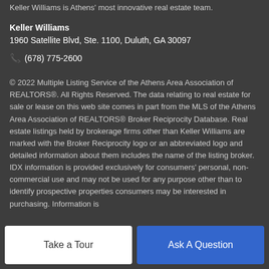Keller Williams is Athens' most innovative real estate team.
Keller Williams
1960 Satellite Blvd, Ste. 1100, Duluth, GA 30097
(678) 775-2600
© 2022 Multiple Listing Service of the Athens Area Association of REALTORS®. All Rights Reserved. The data relating to real estate for sale or lease on this web site comes in part from the MLS of the Athens Area Association of REALTORS® Broker Reciprocity Database. Real estate listings held by brokerage firms other than Keller Williams are marked with the Broker Reciprocity logo or an abbreviated logo and detailed information about them includes the name of the listing broker. IDX information is provided exclusively for consumers' personal, non-commercial use and may not be used for any purpose other than to identify prospective properties consumers may be interested in purchasing. Information is
Take a Tour
Ask A Question